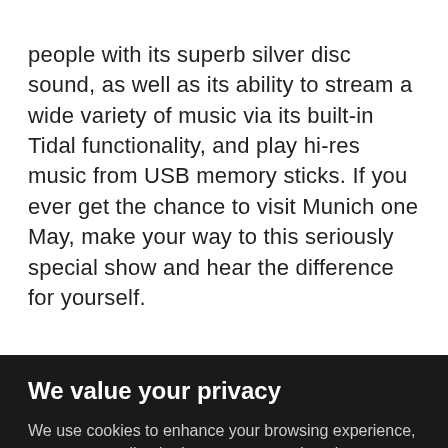people with its superb silver disc sound, as well as its ability to stream a wide variety of music via its built-in Tidal functionality, and play hi-res music from USB memory sticks. If you ever get the chance to visit Munich one May, make your way to this seriously special show and hear the difference for yourself.
We value your privacy
We use cookies to enhance your browsing experience, serve personalized ads or content, and analyze our traffic. By clicking "Accept All", you consent to our use of cookies.